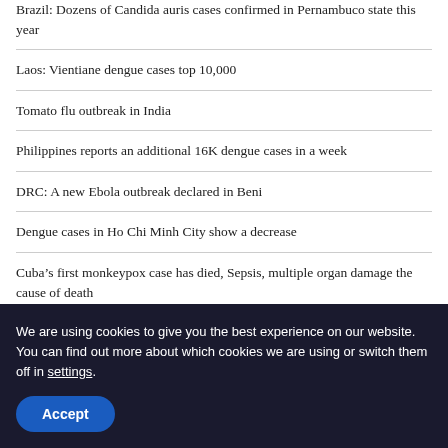Brazil: Dozens of Candida auris cases confirmed in Pernambuco state this year
Laos: Vientiane dengue cases top 10,000
Tomato flu outbreak in India
Philippines reports an additional 16K dengue cases in a week
DRC: A new Ebola outbreak declared in Beni
Dengue cases in Ho Chi Minh City show a decrease
Cuba’s first monkeypox case has died, Sepsis, multiple organ damage the cause of death
From a source in Tokyo, PRRS1 asso...
We are using cookies to give you the best experience on our website. You can find out more about which cookies we are using or switch them off in settings.